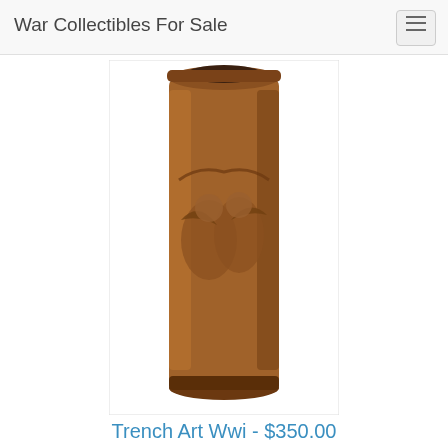War Collectibles For Sale
[Figure (photo): A bronze/copper WWI artillery shell casing with hand-engraved high relief decorative art, cylindrical shape, shown vertically against a white background.]
Trench Art Wwi - $350.00
Trench Art Wwi Artillery Shell Casing Hand Engraved High Relief Date 1921
[Figure (photo): A group scene with figurines or collectibles, partially visible at the bottom of the page.]